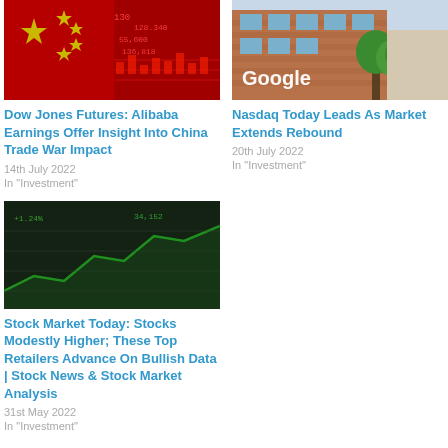[Figure (photo): China flag overlaid on stock market ticker board with red financial data numbers]
Dow Jones Futures: Alibaba Earnings Offer Insight Into China Trade War Impact
14th July 2022
In "Investment"
[Figure (photo): Google office building with brick facade and trees visible, Google logo on the wall]
Nasdaq Today Leads As Market Extends Rebound
20th July 2022
In "Investment"
[Figure (photo): Stock market related image placeholder]
Stock Market Today: Stocks Modestly Higher; These Top Retailers Advance On Bullish Data | Stock News & Stock Market Analysis
31st May 2022
In "Investment"